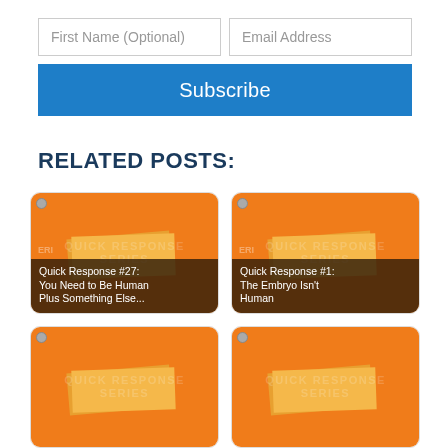First Name (Optional)
Email Address
Subscribe
RELATED POSTS:
[Figure (illustration): Card with orange book cover image, pin icon, and text overlay: Quick Response #27: You Need to Be Human Plus Something Else...]
[Figure (illustration): Card with orange book cover image, pin icon, and text overlay: Quick Response #1: The Embryo Isn't Human]
[Figure (illustration): Card with orange book cover image, pin icon, partially visible at bottom]
[Figure (illustration): Card with orange book cover image, pin icon, partially visible at bottom]